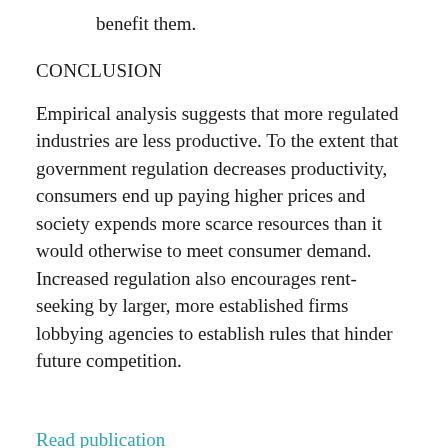benefit them.
CONCLUSION
Empirical analysis suggests that more regulated industries are less productive. To the extent that government regulation decreases productivity, consumers end up paying higher prices and society expends more scarce resources than it would otherwise to meet consumer demand. Increased regulation also encourages rent-seeking by larger, more established firms lobbying agencies to establish rules that hinder future competition.
Read publication